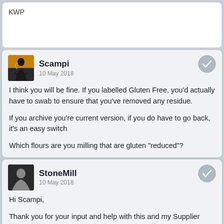KWP
Scampi
10 May 2018
I think you will be fine. If you labelled Gluten Free, you'd actually have to swab to ensure that you've removed any residue.

If you archive you're current version, if you do have to go back, it's an easy switch

Which flours are you milling that are gluten "reduced"?
StoneMill
10 May 2018
Hi Scampi,

Thank you for your input and help with this and my Supplier (Farm) Questionnaire. One question- I am correct in the notion that I simply reduce the Allergen Program to focus on our labeling? And not worry